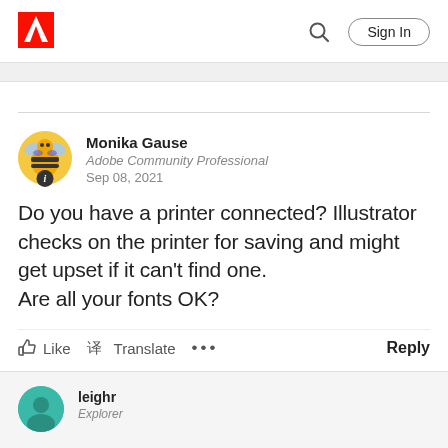Adobe Community — Sign In
Monika Gause
Adobe Community Professional
Sep 08, 2021
Do you have a printer connected? Illustrator checks on the printer for saving and might get upset if it can't find one.
Are all your fonts OK?
Like  Translate  ...  Reply
leighr
Explorer